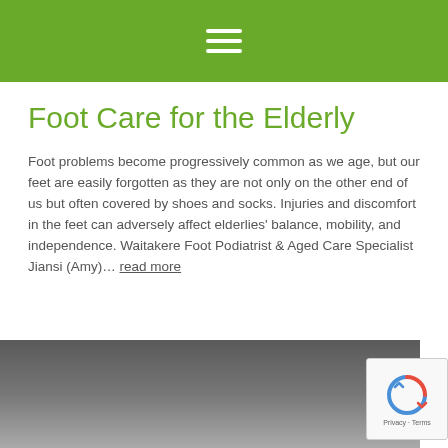Navigation bar with hamburger menu icon
Foot Care for the Elderly
Foot problems become progressively common as we age, but our feet are easily forgotten as they are not only on the other end of us but often covered by shoes and socks. Injuries and discomfort in the feet can adversely affect elderlies' balance, mobility, and independence. Waitakere Foot Podiatrist & Aged Care Specialist Jiansi (Amy)… read more
[Figure (photo): Partial view of a building exterior with overhanging roof, appearing at the bottom of the page]